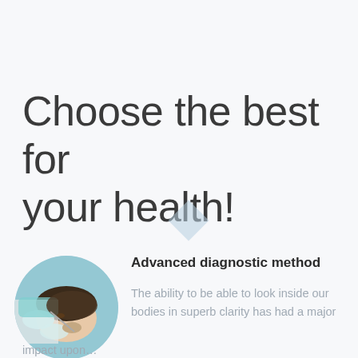Choose the best for your health!
[Figure (photo): Circular cropped photo of a dental patient receiving treatment from a dentist in a clinical setting]
Advanced diagnostic method
The ability to be able to look inside our bodies in superb clarity has had a major impact upon…